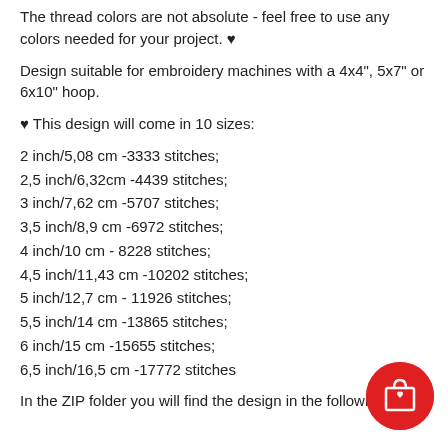The thread colors are not absolute - feel free to use any colors needed for your project. ♥
Design suitable for embroidery machines with a 4x4", 5x7" or 6x10" hoop.
♥ This design will come in 10 sizes:
2 inch/5,08 cm -3333 stitches;
2,5 inch/6,32cm -4439 stitches;
3 inch/7,62 cm -5707 stitches;
3,5 inch/8,9 cm -6972 stitches;
4 inch/10 cm - 8228 stitches;
4,5 inch/11,43 cm -10202 stitches;
5 inch/12,7 cm - 11926 stitches;
5,5 inch/14 cm -13865 stitches;
6 inch/15 cm -15655 stitches;
6,5 inch/16,5 cm -17772 stitches
In the ZIP folder you will find the design in the following 12